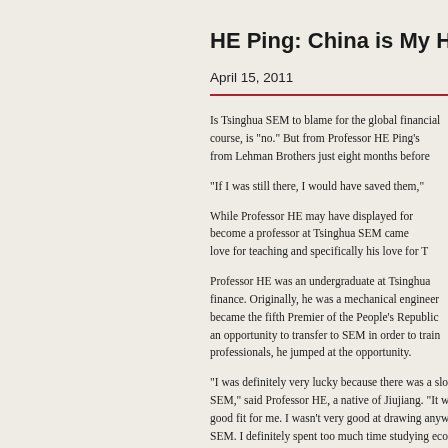HE Ping: China is My Home
April 15, 2011
Is Tsinghua SEM to blame for the global fin... course, is "no." But from Professor HE Ping's... from Lehman Brothers just eight months befo...
“If I was still there, I would have saved them,”
While Professor HE may have displayed for... become a professor at Tsinghua SEM came ... love for teaching and specifically his love for T...
Professor HE was an undergraduate at Ts... finance. Originally, he was a mechanical engi... became the fifth Premier of the People’s Re... an opportunity to transfer to SEM in order t... professionals, he jumped at the opportunity.
“I was definitely very lucky because there wa... SEM,” said Professor HE, a native of Jiujian... good fit for me. I wasn’t very good at drawing... SEM. I definitely spent too much time studyin...
After graduating from Tsinghua, Professor H... before attending the prestigious University o... Ph.D. in 2004, both in economics. In terms o...